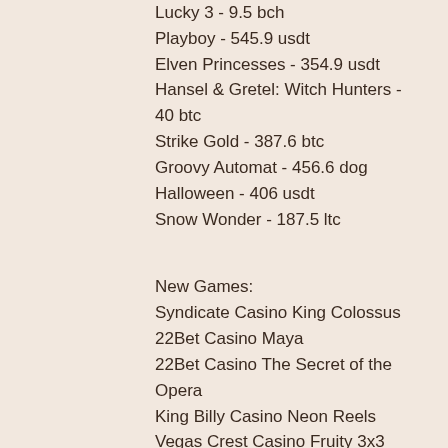Lucky 3 - 9.5 bch
Playboy - 545.9 usdt
Elven Princesses - 354.9 usdt
Hansel & Gretel: Witch Hunters - 40 btc
Strike Gold - 387.6 btc
Groovy Automat - 456.6 dog
Halloween - 406 usdt
Snow Wonder - 187.5 ltc
New Games:
Syndicate Casino King Colossus
22Bet Casino Maya
22Bet Casino The Secret of the Opera
King Billy Casino Neon Reels
Vegas Crest Casino Fruity 3x3
BitStarz Casino Fruitburst
Mars Casino Tres Amigos
BitcoinCasino.us Island
Betcoin.ag Casino Asia Wins
BetChain Casino Magic Book
1xSlots Casino Big Ben